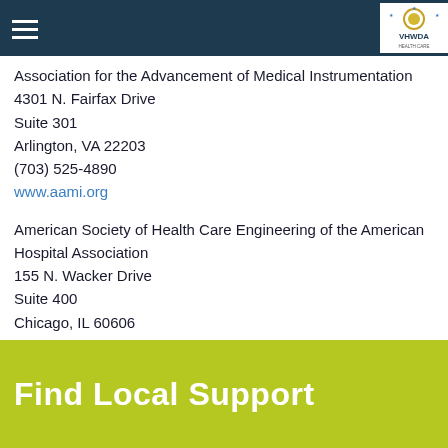VHWDA logo and navigation header
Association for the Advancement of Medical Instrumentation
4301 N. Fairfax Drive
Suite 301
Arlington, VA 22203
(703) 525-4890
www.aami.org
American Society of Health Care Engineering of the American Hospital Association
155 N. Wacker Drive
Suite 400
Chicago, IL 60606
(312) 422-3800
www.ashe.org
Find Local Support